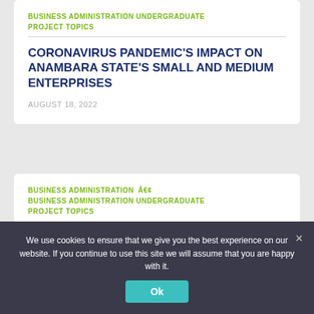BUSINESS ADMINISTRATION UNDERGRADUATE PROJECT TOPICS
CORONAVIRUS PANDEMIC'S IMPACT ON ANAMBARA STATE'S SMALL AND MEDIUM ENTERPRISES
AUGUST 18, 2022
BUSINESS ADMINISTRATION  Â€¢ BUSINESS ADMINISTRATION UNDERGRADUATE PROJECT TOPICS
We use cookies to ensure that we give you the best experience on our website. If you continue to use this site we will assume that you are happy with it.